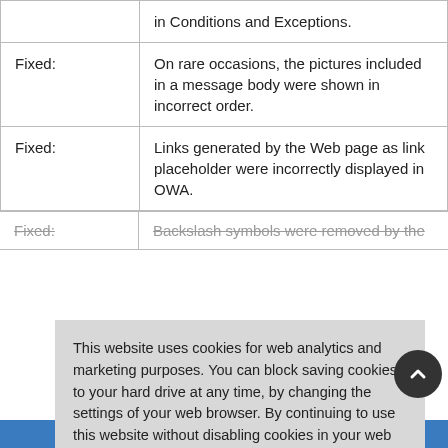|  |  |
| --- | --- |
|  | in Conditions and Exceptions. |
| Fixed: | On rare occasions, the pictures included in a message body were shown in incorrect order. |
| Fixed: | Links generated by the Web page as link placeholder were incorrectly displayed in OWA. |
| Fixed: | Backslash symbols were removed by the |
This website uses cookies for web analytics and marketing purposes. You can block saving cookies to your hard drive at any time, by changing the settings of your web browser. By continuing to use this website without disabling cookies in your web browser you agree to saving cookies to your hard drive. Learn more in our Privacy Policy.